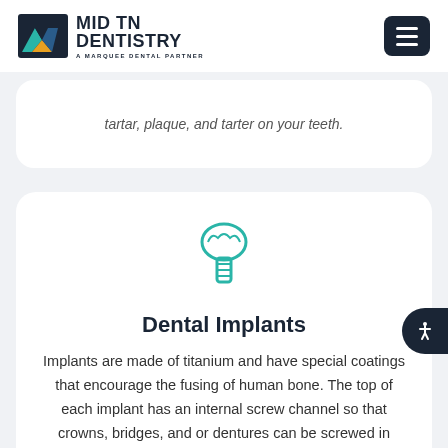MID TN DENTISTRY — A MARQUEE DENTAL PARTNER
tartar, plaque, and tarter on your teeth.
[Figure (illustration): Teal outline icon of a dental implant (crown shape on top with screw post below)]
Dental Implants
Implants are made of titanium and have special coatings that encourage the fusing of human bone. The top of each implant has an internal screw channel so that crowns, bridges, and or dentures can be screwed in place.